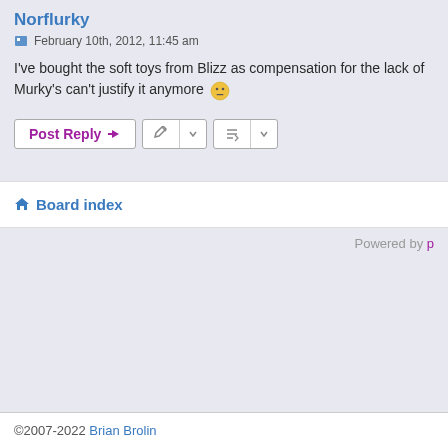Norflurky
February 10th, 2012, 11:45 am
I've bought the soft toys from Blizz as compensation for the lack of Murky's can't justify it anymore 😐
Post Reply | [tools] | [sort]
Board index
Powered by p
©2007-2022 Brian Brolin